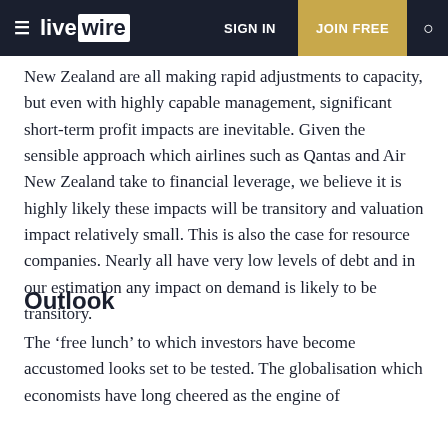live wire | SIGN IN | JOIN FREE
New Zealand are all making rapid adjustments to capacity, but even with highly capable management, significant short-term profit impacts are inevitable. Given the sensible approach which airlines such as Qantas and Air New Zealand take to financial leverage, we believe it is highly likely these impacts will be transitory and valuation impact relatively small. This is also the case for resource companies. Nearly all have very low levels of debt and in our estimation any impact on demand is likely to be transitory.
Outlook
The ‘free lunch’ to which investors have become accustomed looks set to be tested. The globalisation which economists have long cheered as the engine of